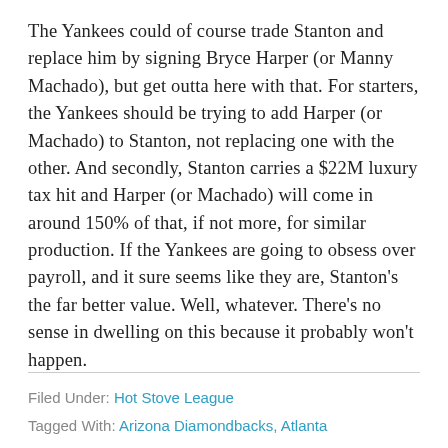The Yankees could of course trade Stanton and replace him by signing Bryce Harper (or Manny Machado), but get outta here with that. For starters, the Yankees should be trying to add Harper (or Machado) to Stanton, not replacing one with the other. And secondly, Stanton carries a $22M luxury tax hit and Harper (or Machado) will come in around 150% of that, if not more, for similar production. If the Yankees are going to obsess over payroll, and it sure seems like they are, Stanton's the far better value. Well, whatever. There's no sense in dwelling on this because it probably won't happen.
Filed Under: Hot Stove League
Tagged With: Arizona Diamondbacks, Atlanta